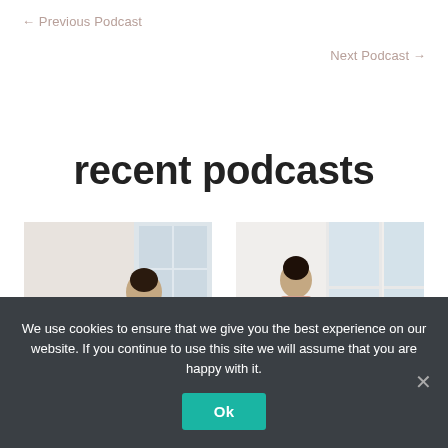← Previous Podcast
Next Podcast →
recent podcasts
[Figure (photo): Two women, one appears to be a child and one an adult, looking at something together, light background]
[Figure (photo): Woman standing near large windows in a light-filled room, wearing a pink/blush top]
We use cookies to ensure that we give you the best experience on our website. If you continue to use this site we will assume that you are happy with it.
Ok